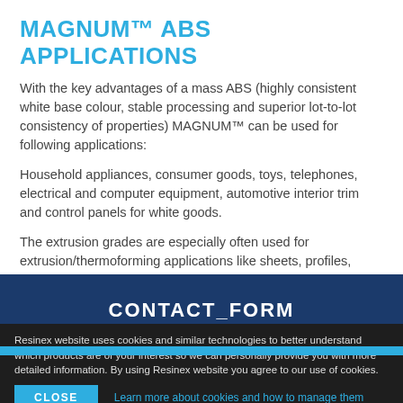MAGNUM™ ABS APPLICATIONS
With the key advantages of a mass ABS (highly consistent white base colour, stable processing and superior lot-to-lot consistency of properties) MAGNUM™ can be used for following applications:
Household appliances, consumer goods, toys, telephones, electrical and computer equipment, automotive interior trim and control panels for white goods.
The extrusion grades are especially often used for extrusion/thermoforming applications like sheets, profiles, transportation, sanitary ware, signage and furnishings.
CONTACT_FORM
Resinex website uses cookies and similar technologies to better understand which products are of your interest so we can personally provide you with more detailed information. By using Resinex website you agree to our use of cookies.
CLOSE
Learn more about cookies and how to manage them